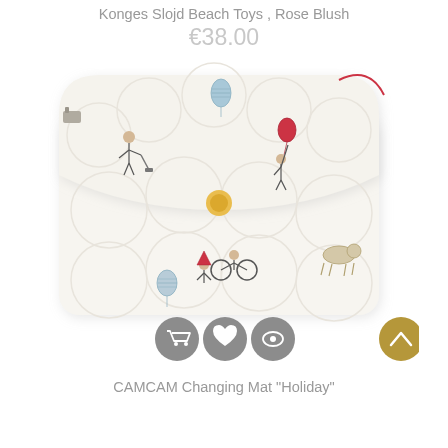Konges Slojd Beach Toys , Rose Blush
€38.00
[Figure (photo): A white quilted changing mat/clutch bag with illustrated holiday-themed pattern featuring children with balloons, bicycles, and other playful motifs. The bag has a yellow snap button closure and is laid flat.]
CAMCAM Changing Mat "Holiday"